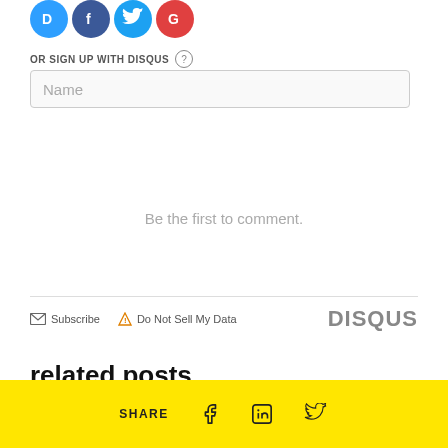[Figure (illustration): Social login icons row: Disqus (blue), Facebook (dark blue), Twitter (light blue), Google (red) — circular icons partially cropped at top]
OR SIGN UP WITH DISQUS ?
Name
Be the first to comment.
Subscribe   Do Not Sell My Data   DISQUS
related posts
SHARE